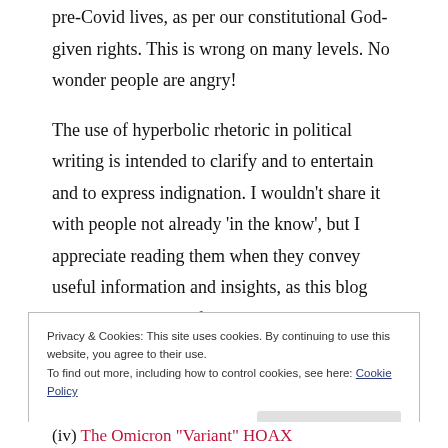pre-Covid lives, as per our constitutional God-given rights. This is wrong on many levels. No wonder people are angry!
The use of hyperbolic rhetoric in political writing is intended to clarify and to entertain and to express indignation. I wouldn't share it with people not already 'in the know', but I appreciate reading them when they convey useful information and insights, as this blog does. It helps to confirm what I already know and periodically learn something new.
Privacy & Cookies: This site uses cookies. By continuing to use this website, you agree to their use. To find out more, including how to control cookies, see here: Cookie Policy
(iv) The Omicron "Variant" HOAX